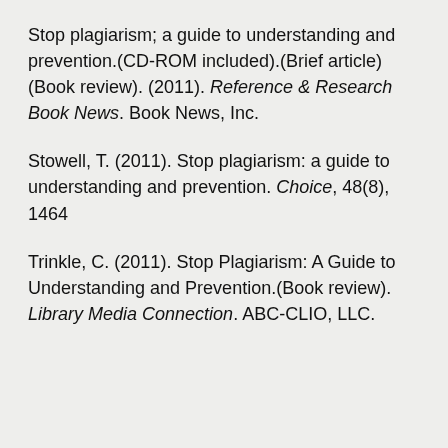Stop plagiarism; a guide to understanding and prevention.(CD-ROM included).(Brief article)(Book review). (2011). Reference & Research Book News. Book News, Inc.
Stowell, T. (2011). Stop plagiarism: a guide to understanding and prevention. Choice, 48(8), 1464
Trinkle, C. (2011). Stop Plagiarism: A Guide to Understanding and Prevention.(Book review). Library Media Connection. ABC-CLIO, LLC.